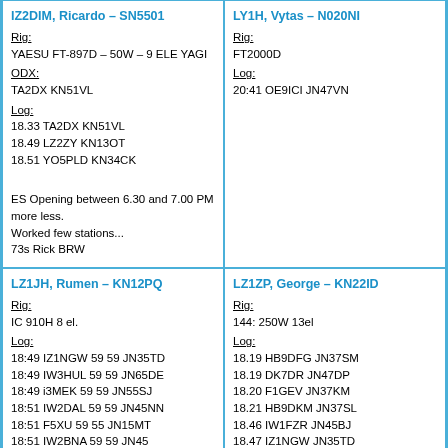IZ2DIM, Ricardo – SN5501 (truncated header)
Rig:
YAESU FT-897D – 50W – 9 ELE YAGI
ODX:
TA2DX KN51VL
Log:
18.33 TA2DX KN51VL
18.49 LZ2ZY KN13OT
18.51 YO5PLD KN34CK

ES Opening between 6.30 and 7.00 PM more less.
Worked few stations...
73s Rick BRW
LY1H, Vytas – N020NI (truncated header)
Rig:
FT2000D
Log:
20:41 OE9ICI JN47VN
LZ1JH, Rumen – KN12PQ
Rig:
IC 910H 8 el.
Log:
18:49 IZ1NGW 59 59 JN35TD
18:49 IW3HUL 59 59 JN65DE
18:49 i3MEK 59 59 JN55SJ
18:51 IW2DAL 59 59 JN45NN
18:51 F5XU 59 55 JN15MT
18:51 IW2BNA 59 59 JN45
LZ1ZP, George – KN22ID
Rig:
144: 250W 13el
Log:
18.19 HB9DFG JN37SM
18.19 DK7DR JN47DP
18.20 F1GEV JN37KM
18.21 HB9DKM JN37SL
18.46 IW1FZR JN45BJ
18.47 IZ1NGW JN35TD
18.47 IW2DAL JN45NN